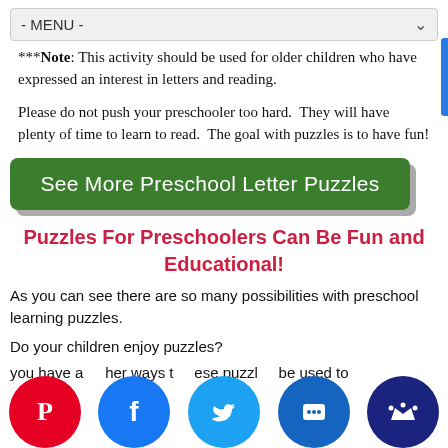- MENU -
***Note: This activity should be used for older children who have expressed an interest in letters and reading.
Please do not push your preschooler too hard. They will have plenty of time to learn to read. The goal with puzzles is to have fun!
[Figure (other): Green button: See More Preschool Letter Puzzles]
Puzzles For Preschoolers Can Be Fun and Educational!
As you can see there are so many possibilities with preschool learning puzzles.
Do your children enjoy puzzles?
you have a other ways these puzzles be used to
[Figure (other): Social share icons: Pinterest, Facebook, Twitter, SMS, Crown]